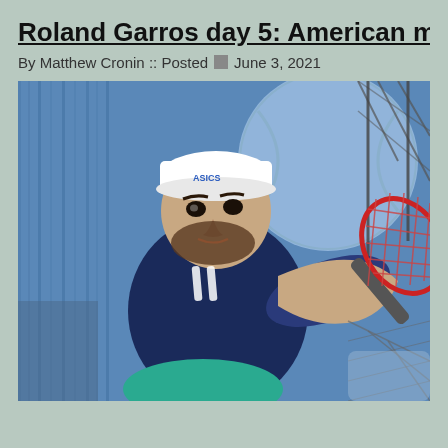Roland Garros day 5: American men has lit…
By Matthew Cronin :: Posted  June 3, 2021
[Figure (photo): A male tennis player wearing a white cap with ASICS logo and dark navy top, mid-swing with a red/white tennis racket. Background shows blue court fencing and a large tennis ball graphic.]